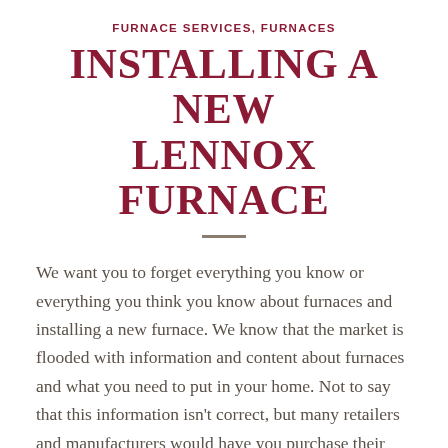FURNACE SERVICES, FURNACES
INSTALLING A NEW LENNOX FURNACE
We want you to forget everything you know or everything you think you know about furnaces and installing a new furnace. We know that the market is flooded with information and content about furnaces and what you need to put in your home. Not to say that this information isn't correct, but many retailers and manufacturers would have you purchase their most expensive models, even if they are the best fit for your home. We've been installing furnaces in Toronto and the Greater Toronto Area for over 35 years